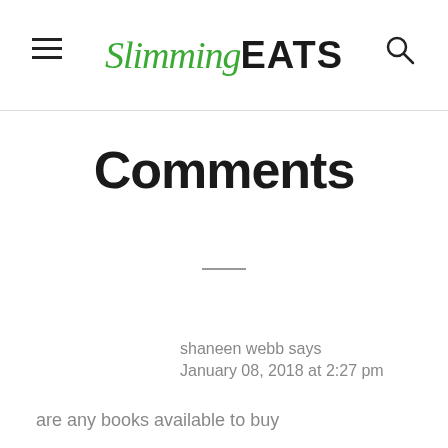Slimming EATS
Comments
shaneen webb says
January 08, 2018 at 2:27 pm
are any books available to buy